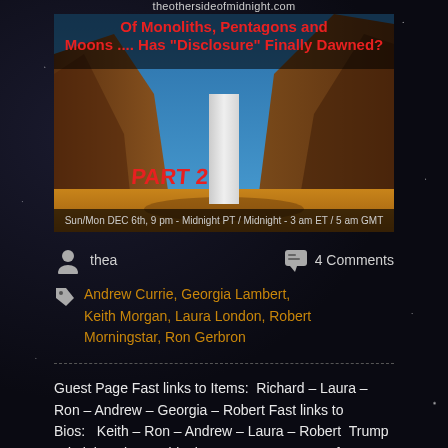[Figure (screenshot): Thumbnail image for a radio show episode about Monoliths, Pentagons and Moons with text 'Of Monoliths, Pentagons and Moons.... Has Disclosure Finally Dawned?' and 'PART 2', with show time 'Sun/Mon DEC 6th, 9pm - Midnight PT / Midnight - 3am ET / 5am GMT'. Shows a monolith in a desert canyon.]
thea
4 Comments
Andrew Currie, Georgia Lambert, Keith Morgan, Laura London, Robert Morningstar, Ron Gerbron
Guest Page Fast links to Items:  Richard – Laura – Ron – Andrew – Georgia – Robert Fast links to Bios:   Keith – Ron – Andrew – Laura – Robert  Trump Administration Suddenly Announces Return of American